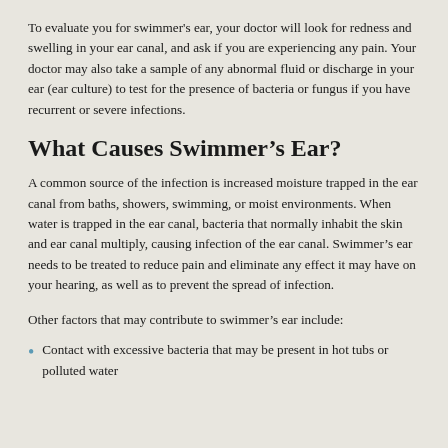To evaluate you for swimmer's ear, your doctor will look for redness and swelling in your ear canal, and ask if you are experiencing any pain. Your doctor may also take a sample of any abnormal fluid or discharge in your ear (ear culture) to test for the presence of bacteria or fungus if you have recurrent or severe infections.
What Causes Swimmer's Ear?
A common source of the infection is increased moisture trapped in the ear canal from baths, showers, swimming, or moist environments. When water is trapped in the ear canal, bacteria that normally inhabit the skin and ear canal multiply, causing infection of the ear canal. Swimmer's ear needs to be treated to reduce pain and eliminate any effect it may have on your hearing, as well as to prevent the spread of infection.
Other factors that may contribute to swimmer's ear include:
Contact with excessive bacteria that may be present in hot tubs or polluted water